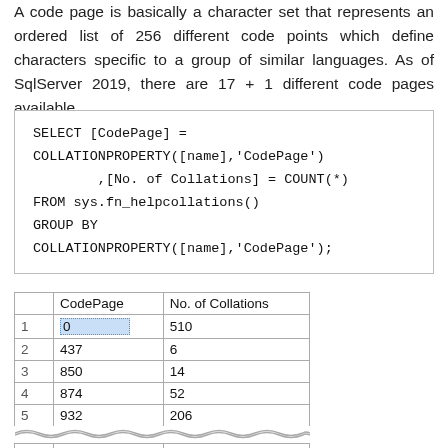A code page is basically a character set that represents an ordered list of 256 different code points which define characters specific to a group of similar languages. As of SqlServer 2019, there are 17 + 1 different code pages available.
SELECT [CodePage] =
COLLATIONPROPERTY([name],'CodePage')
        ,[No. of Collations] = COUNT(*)
FROM sys.fn_helpcollations()
GROUP BY
COLLATIONPROPERTY([name],'CodePage');
|  | CodePage | No. of Collations |
| --- | --- | --- |
| 1 | 0 | 510 |
| 2 | 437 | 6 |
| 3 | 850 | 14 |
| 4 | 874 | 52 |
| 5 | 932 | 206 |
| 17 | 1258 | 52 |